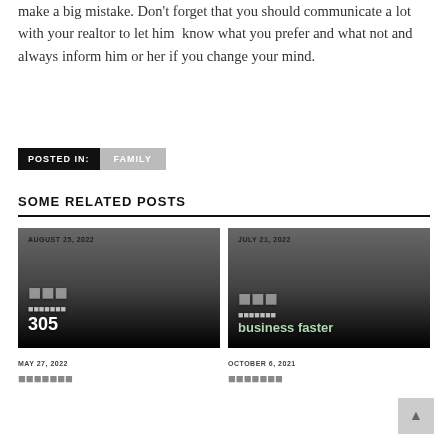make a big mistake. Don't forget that you should communicate a lot with your realtor to let him know what you prefer and what not and always inform him or her if you change your mind.
POSTED IN: FAMILY
SOME RELATED POSTS
[Figure (other): Card image dated AUGUST 25, 2022 with dark gradient and partial white text overlay]
[Figure (other): Card image dated JULY 21, 2022 with dark gradient and partial white/green text overlay reading 'business faster']
MAY 27, 2022
OCTOBER 6, 2021